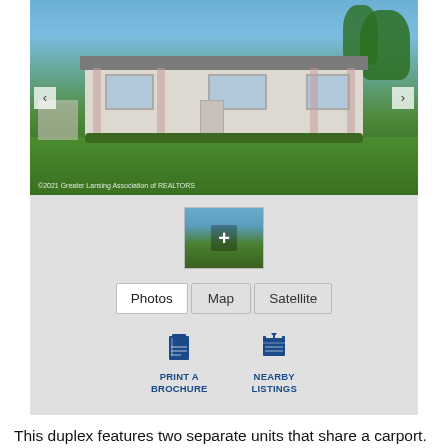[Figure (photo): Exterior photo of a single-story ranch-style house with white/beige siding, grey roof, green lawn, and trees in background. Navigation arrows visible on sides. Watermark: ©2021 Greater Lansing Association of REALTORS]
[Figure (photo): Small thumbnail image of the same house with a '+' overlay indicating more photos]
Photos   Map   Satellite
PRINT A BROCHURE
NEARBY LISTINGS
This duplex features two separate units that share a carport. 5316 Waverly is rented until 2/28/22 at $850. 5318